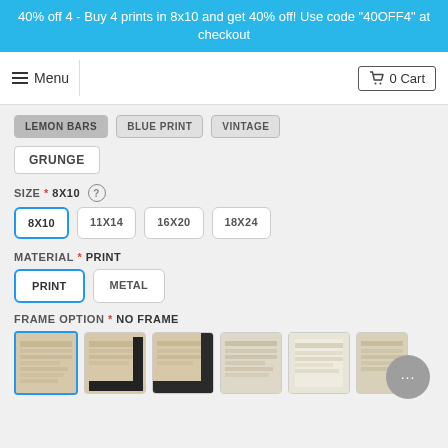40% off 4 - Buy 4 prints in 8x10 and get 40% off! Use code "40OFF4" at checkout
Menu
0 Cart
LEMON BARS  BLUE PRINT  VINTAGE
GRUNGE
SIZE * 8X10 (?)
8X10  11X14  16X20  18X24
MATERIAL * PRINT
PRINT  METAL
FRAME OPTION * NO FRAME
[Figure (screenshot): Six frame option thumbnail images showing print with different frame styles]